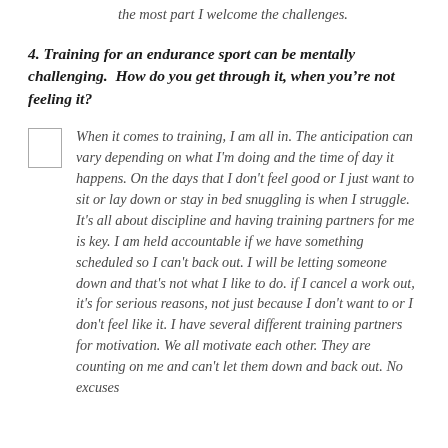the most part I welcome the challenges.
4. Training for an endurance sport can be mentally challenging.  How do you get through it, when you’re not feeling it?
When it comes to training, I am all in. The anticipation can vary depending on what I'm doing and the time of day it happens. On the days that I don't feel good or I just want to sit or lay down or stay in bed snuggling is when I struggle. It's all about discipline and having training partners for me is key. I am held accountable if we have something scheduled so I can't back out. I will be letting someone down and that's not what I like to do. if I cancel a work out, it's for serious reasons, not just because I don't want to or I don't feel like it. I have several different training partners for motivation. We all motivate each other. They are counting on me and can't let them down and back out. No excuses